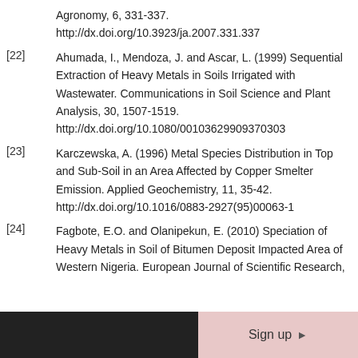Agronomy, 6, 331-337. http://dx.doi.org/10.3923/ja.2007.331.337
[22] Ahumada, I., Mendoza, J. and Ascar, L. (1999) Sequential Extraction of Heavy Metals in Soils Irrigated with Wastewater. Communications in Soil Science and Plant Analysis, 30, 1507-1519. http://dx.doi.org/10.1080/00103629909370303
[23] Karczewska, A. (1996) Metal Species Distribution in Top and Sub-Soil in an Area Affected by Copper Smelter Emission. Applied Geochemistry, 11, 35-42. http://dx.doi.org/10.1016/0883-2927(95)00063-1
[24] Fagbote, E.O. and Olanipekun, E. (2010) Speciation of Heavy Metals in Soil of Bitumen Deposit Impacted Area of Western Nigeria. European Journal of Scientific Research,
Sign up